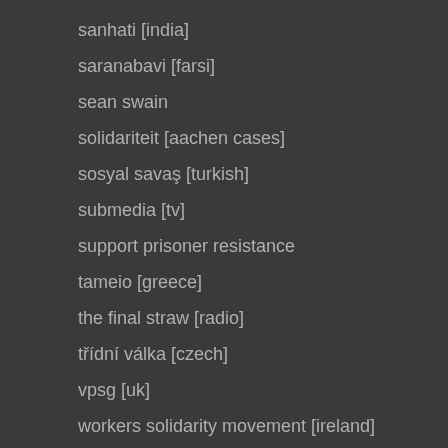sanhati [india]
saranabavi [farsi]
sean swain
solidariteit [aachen cases]
sosyal savaş [turkish]
submedia [tv]
support prisoner resistance
tameio [greece]
the final straw [radio]
třídní válka [czech]
vpsg [uk]
workers solidarity movement [ireland]
zabalaza [south africa]